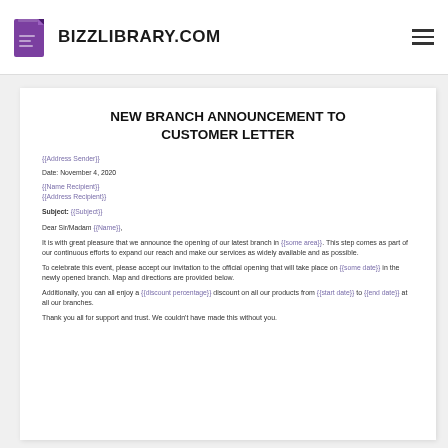BIZZLIBRARY.COM
NEW BRANCH ANNOUNCEMENT TO CUSTOMER LETTER
{{Address Sender}}
Date: November 4, 2020
{{Name Recipient}}
{{Address Recipient}}
Subject: {{Subject}}
Dear Sir/Madam {{Name}},
It is with great pleasure that we announce the opening of our latest branch in {{some area}}. This step comes as part of our continuous efforts to expand our reach and make our services as widely available and as possible.
To celebrate this event, please accept our invitation to the official opening that will take place on {{some date}} in the newly opened branch. Map and directions are provided below.
Additionally, you can all enjoy a {{discount percentage}} discount on all our products from {{start date}} to {{end date}} at all our branches.
Thank you all for support and trust. We couldn't have made this without you.